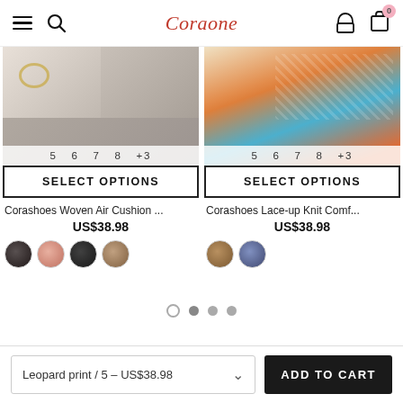Coraone
[Figure (photo): Product image of Corashoes Woven Air Cushion shoe with size options 5 6 7 8 +3 and SELECT OPTIONS button, 4 color swatches below]
Corashoes Woven Air Cushion ...
US$38.98
[Figure (photo): Product image of Corashoes Lace-up Knit Comf shoe (orange/blue) with size options 5 6 7 8 +3 and SELECT OPTIONS button, 2 color swatches below]
Corashoes Lace-up Knit Comf...
US$38.98
Leopard print / 5 – US$38.98
ADD TO CART